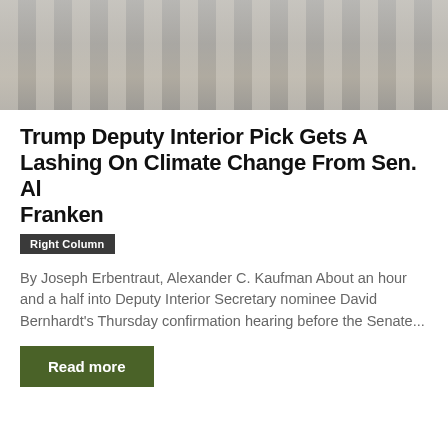[Figure (photo): Partial view of a government building with classical columns, likely the US Capitol or similar neoclassical architecture, against a gray sky.]
Trump Deputy Interior Pick Gets A Lashing On Climate Change From Sen. Al Franken
Right Column
By Joseph Erbentraut, Alexander C. Kaufman About an hour and a half into Deputy Interior Secretary nominee David Bernhardt's Thursday confirmation hearing before the Senate...
Read more
[Figure (photo): Close-up photo of a person wearing a dark hoodie, face partially visible, shot in low light with dark background.]